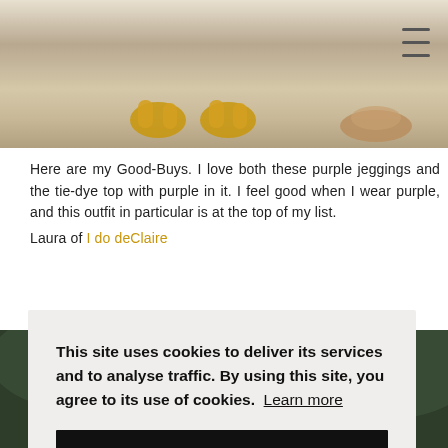[Figure (photo): Top portion of a fashion/lifestyle photo showing feet wearing yellow/mustard sandals on a light floor, with another shoe visible on the right side. A hamburger menu icon appears in the top right corner.]
Here are my Good-Buys. I love both these purple jeggings and the tie-dye top with purple in it. I feel good when I wear purple, and this outfit in particular is at the top of my list.
Laura of I do deClaire
[Figure (photo): Bottom fashion/lifestyle photo showing dense green foliage/trees in background with a purple outfit partially visible, mostly obscured by cookie consent overlay.]
This site uses cookies to deliver its services and to analyse traffic. By using this site, you agree to its use of cookies. Learn more
OK